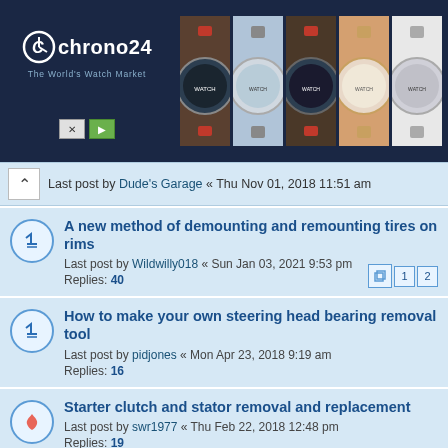[Figure (screenshot): Chrono24 advertisement banner with logo on dark blue background and 5 watch product images]
Last post by Dude's Garage « Thu Nov 01, 2018 11:51 am
A new method of demounting and remounting tires on rims
Last post by Wildwilly018 « Sun Jan 03, 2021 9:53 pm
Replies: 40
How to make your own steering head bearing removal tool
Last post by pidjones « Mon Apr 23, 2018 9:19 am
Replies: 16
Starter clutch and stator removal and replacement
Last post by swr1977 « Thu Feb 22, 2018 12:48 pm
Replies: 19
A novel way of fixing starter clutch squeal
Last post by WingAdmin « Sun Sep 17, 2017 5:05 pm
Replies: 32
repair/rejuvenate electrical plugs...the right way
Last post by madmtnmotors « Sun Jun 25, 2017 7:15 pm
Replies: 20